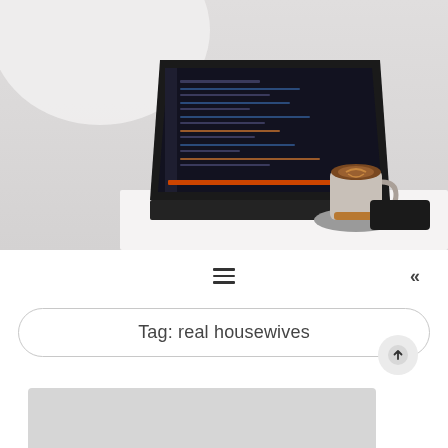[Figure (photo): Workspace photo showing a laptop with dark code editor open, a latte coffee on a saucer, a smartphone, and a white chair/lamp partially visible, all on a white table against a light grey wall.]
[Figure (infographic): Navigation bar with hamburger menu icon (three horizontal lines) centered and a double left chevron (<<) on the right side.]
Tag: real housewives
[Figure (other): Scroll-to-top circular button with an upward arrow icon.]
[Figure (photo): Grey placeholder rectangle representing a card or article thumbnail image.]